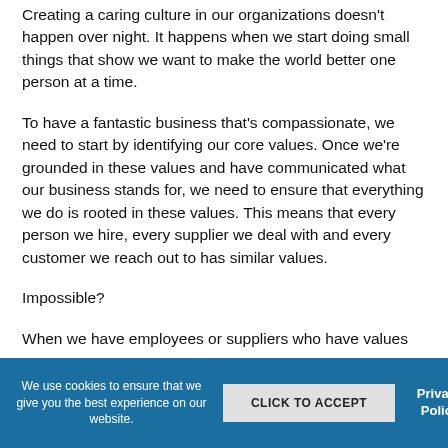Creating a caring culture in our organizations doesn't happen over night. It happens when we start doing small things that show we want to make the world better one person at a time.
To have a fantastic business that's compassionate, we need to start by identifying our core values. Once we're grounded in these values and have communicated what our business stands for, we need to ensure that everything we do is rooted in these values. This means that every person we hire, every supplier we deal with and every customer we reach out to has similar values.
Impossible?
When we have employees or suppliers who have values
We use cookies to ensure that we give you the best experience on our website. CLICK TO ACCEPT Privacy Policy